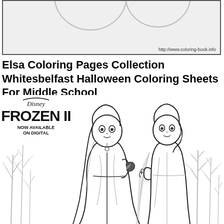[Figure (illustration): Top portion of a coloring book page showing partial illustration with URL watermark http://www.coloring-book.info]
Elsa Coloring Pages Collection Whitesbelfast Halloween Coloring Sheets For Middle School
[Figure (illustration): Disney Frozen II coloring page featuring Anna and Elsa standing among bare winter trees. Text reads: Disney Frozen II Now Available On Digital]